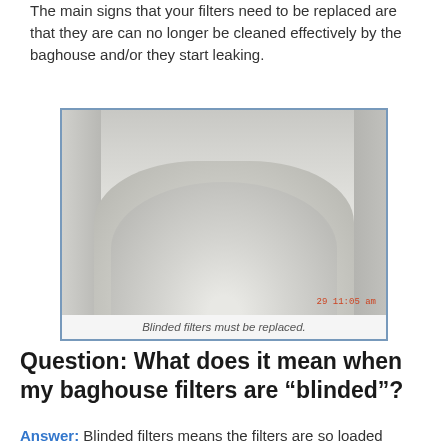The main signs that your filters need to be replaced are that they are can no longer be cleaned effectively by the baghouse and/or they start leaking.
[Figure (photo): Photo of blinded baghouse filters — a large mound of white dust/powder accumulated on the floor inside a baghouse filter chamber, with filter bags visible on the sides. Timestamp reads '29 11:05 am' in red.]
Blinded filters must be replaced.
Question: What does it mean when my baghouse filters are “blinded”?
Answer: Blinded filters means the filters are so loaded